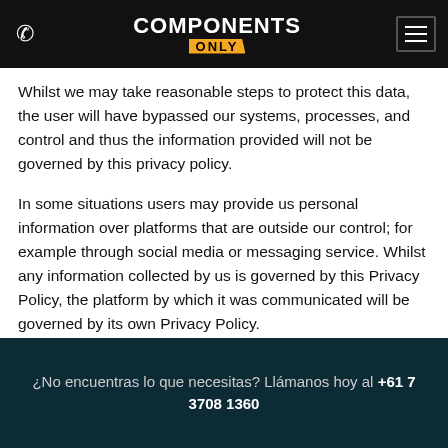COMPONENTS ONLY — navigation bar with phone icon and menu button
Whilst we may take reasonable steps to protect this data, the user will have bypassed our systems, processes, and control and thus the information provided will not be governed by this privacy policy.
In some situations users may provide us personal information over platforms that are outside our control; for example through social media or messaging service. Whilst any information collected by us is governed by this Privacy Policy, the platform by which it was communicated will be governed by its own Privacy Policy.
HOW WE COLLECT PERSONAL INFORMATION
¿No encuentras lo que necesitas? Llámanos hoy al +61 7 3708 1360